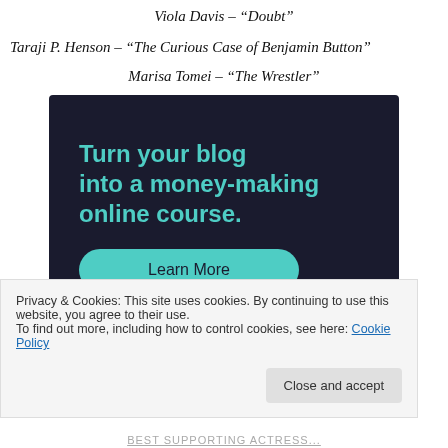Viola Davis – “Doubt”
Taraji P. Henson – “The Curious Case of Benjamin Button”
Marisa Tomei – “The Wrestler”
[Figure (infographic): Dark navy advertisement box with teal text reading 'Turn your blog into a money-making online course.' and a teal 'Learn More' button.]
Privacy & Cookies: This site uses cookies. By continuing to use this website, you agree to their use.
To find out more, including how to control cookies, see here: Cookie Policy
Close and accept